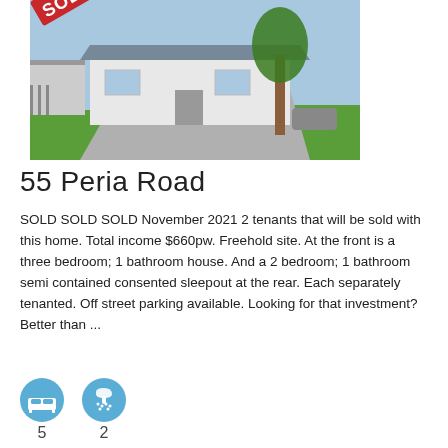[Figure (photo): Exterior photo of a single-story white house with a large driveway, grass lawn, and a tree in the foreground. A red 'SOLD' banner is overlaid in the top-left corner.]
55 Peria Road
SOLD SOLD SOLD November 2021 2 tenants that will be sold with this home. Total income $660pw. Freehold site. At the front is a three bedroom; 1 bathroom house. And a 2 bedroom; 1 bathroom semi contained consented sleepout at the rear. Each separately tenanted. Off street parking available. Looking for that investment? Better than ...
[Figure (infographic): Two blue circular icons: a bed icon (bedrooms) and a shower/tap icon (bathrooms), with numbers 5 and 2 below them respectively.]